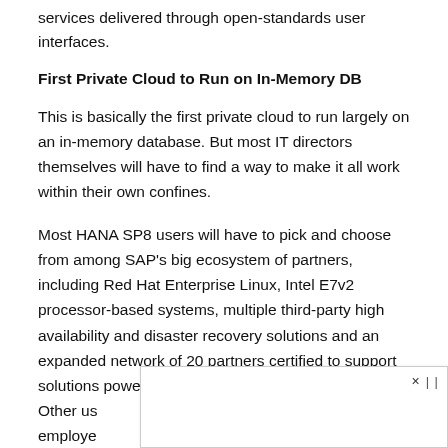services delivered through open-standards user interfaces.
First Private Cloud to Run on In-Memory DB
This is basically the first private cloud to run largely on an in-memory database. But most IT directors themselves will have to find a way to make it all work within their own confines.
Most HANA SP8 users will have to pick and choose from among SAP’s big ecosystem of partners, including Red Hat Enterprise Linux, Intel E7v2 processor-based systems, multiple third-party high availability and disaster recovery solutions and an expanded network of 20 partners certified to support solutions powered by SAP HANA in the cloud.
Other us… employe…